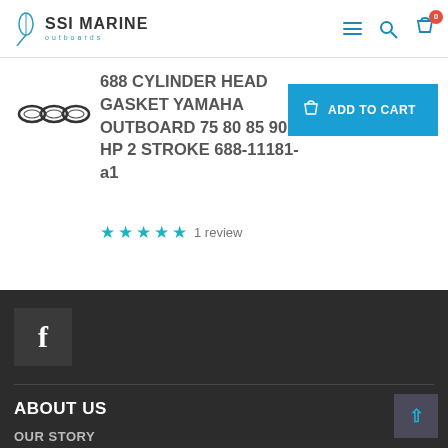SSI MARINE outboards
688 CYLINDER HEAD GASKET YAMAHA OUTBOARD 75 80 85 90 HP 2 STROKE 688-11181-a1
★★★★★ 1 review
ADD TO CART
f
ABOUT US
OUR STORY